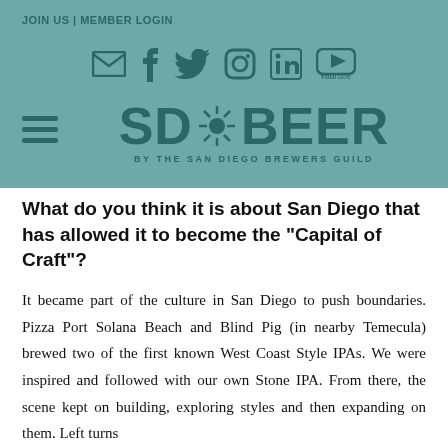JOIN US | MEMBER LOGIN
[Figure (logo): Social media icons: email, Facebook, Twitter, Instagram, LinkedIn, YouTube]
[Figure (logo): SD Beer logo with sun/wheat icon - by the San Diego Brewers Guild]
What do you think it is about San Diego that has allowed it to become the "Capital of Craft"?
It became part of the culture in San Diego to push boundaries. Pizza Port Solana Beach and Blind Pig (in nearby Temecula) brewed two of the first known West Coast Style IPAs. We were inspired and followed with our own Stone IPA. From there, the scene kept on building, exploring styles and then expanding on them. Left turns